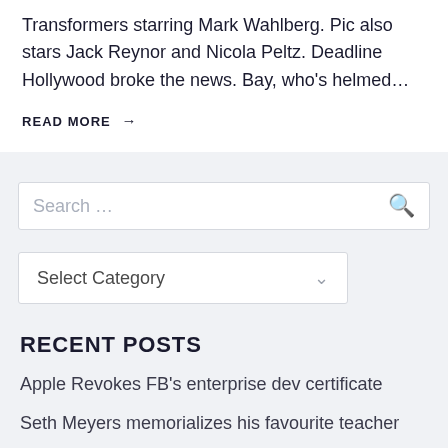Transformers starring Mark Wahlberg. Pic also stars Jack Reynor and Nicola Peltz. Deadline Hollywood broke the news. Bay, who's helmed…
READ MORE →
Search …
Select Category
RECENT POSTS
Apple Revokes FB's enterprise dev certificate
Seth Meyers memorializes his favourite teacher
Hyperloop – Calgary to Edmonton in half an hour?